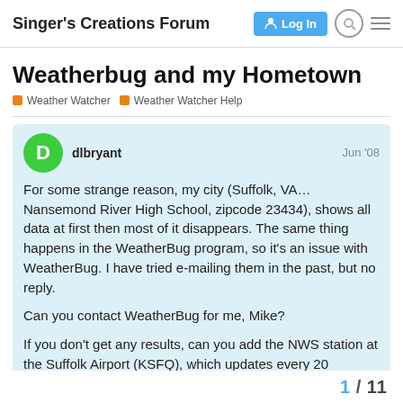Singer's Creations Forum  Log In
Weatherbug and my Hometown
Weather Watcher  Weather Watcher Help
dlbryant  Jun '08

For some strange reason, my city (Suffolk, VA…Nansemond River High School, zipcode 23434), shows all data at first then most of it disappears. The same thing happens in the WeatherBug program, so it's an issue with WeatherBug. I have tried e-mailing them in the past, but no reply.

Can you contact WeatherBug for me, Mike?

If you don't get any results, can you add the NWS station at the Suffolk Airport (KSFQ), which updates every 20 miniutes?

Thanks!
1 / 11